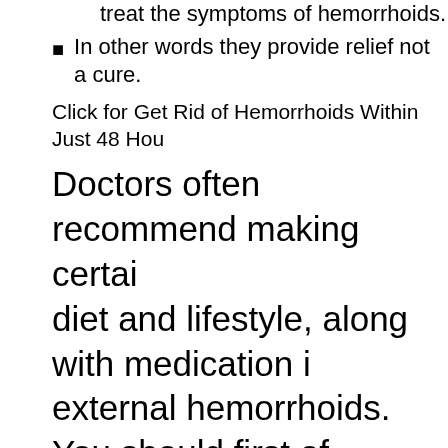treat the symptoms of hemorrhoids.
In other words they provide relief not a cure.
Click for Get Rid of Hemorrhoids Within Just 48 Hou
Doctors often recommend making certain diet and lifestyle, along with medication in external hemorrhoids. You should first of constipation from occurring as an example by including lots of fiber content in the m fiber in large quantities in fruits and vege including them in your diet is a sure shot problems in the first instance. In fact diet usually the first step to treat external her Physicians would also recomme diet f